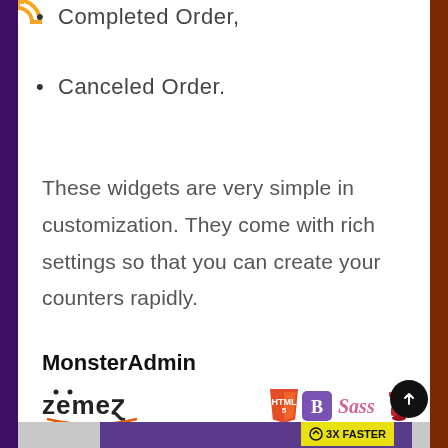Completed Order,
Canceled Order.
These widgets are very simple in customization. They come with rich settings so that you can create your counters rapidly.
MonsterAdmin
[Figure (logo): Zemes logo and technology logos: HTML5, Bootstrap, Sass, Gusto]